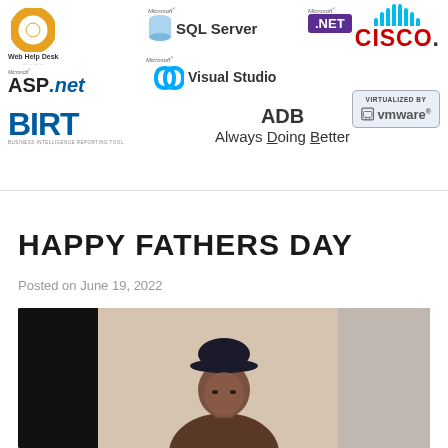[Figure (logo): Header banner with multiple technology logos: Web Help Desk (lifesaver icon), Microsoft SQL Server, Microsoft .NET, Cisco, Microsoft ASP.net, Microsoft Visual Studio (infinity icon), BIRT (Business Intelligence Reporting Tool), ADB Always Doing Better, and Virtualized by VMware badge]
HAPPY FATHERS DAY
Posted on June 19, 2022
[Figure (photo): Photo of a person wearing a dark baseball cap, standing indoors]